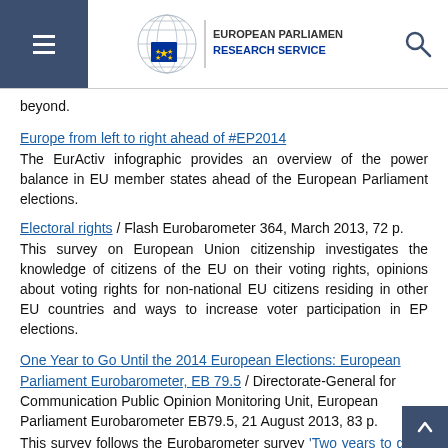European Parliamentary Research Service
beyond.
Europe from left to right ahead of #EP2014
The EurActiv infographic provides an overview of the power balance in EU member states ahead of the European Parliament elections.
Electoral rights / Flash Eurobarometer 364, March 2013, 72 p.
This survey on European Union citizenship investigates the knowledge of citizens of the EU on their voting rights, opinions about voting rights for non-national EU citizens residing in other EU countries and ways to increase voter participation in EP elections.
One Year to Go Until the 2014 European Elections: European Parliament Eurobarometer, EB 79.5 / Directorate-General for Communication Public Opinion Monitoring Unit, European Parliament Eurobarometer EB79.5, 21 August 2013, 83 p.
This survey follows the Eurobarometer survey 'Two years to go to the 2014 European elections', EP/EB77.4 of June 2012, seeking to estimate Europeans' opinion of the European elections, 2014.